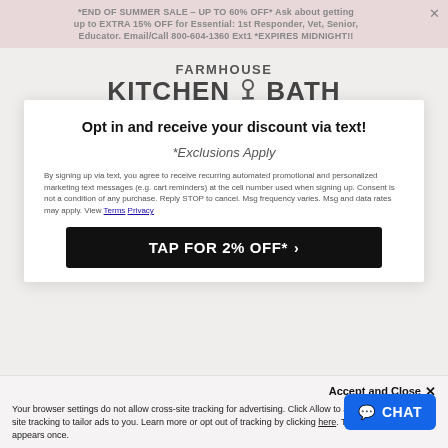*END OF SUMMER SALE - UP TO 60% OFF* Ask about getting up to EXTRA 15% OFF for Essential: 1st Responder, Vet, Senior, Educator. Email/Call 800-604-1360 Ext1 *EXPIRES MIDNIGHT!!
[Figure (logo): Farmhouse Kitchen & Bath logo with faucet icon]
Opt in and receive your discount via text!
*Exclusions Apply
By signing up via text, you agree to receive recurring automated promotional and personalized marketing text messages (e.g. cart reminders) at the cell number used when signing up. Consent is not a condition of any purchase. Reply STOP to cancel. Msg frequency varies. Msg and data rates may apply. View Terms Privacy
TAP FOR 2% OFF* >
Accept and Close ✕
Your browser settings do not allow cross-site tracking for advertising. Click Allow to allow AdRoll to use cross-site tracking to tailor ads to you. Learn more or opt out of tracking by clicking here. This message only appears once.